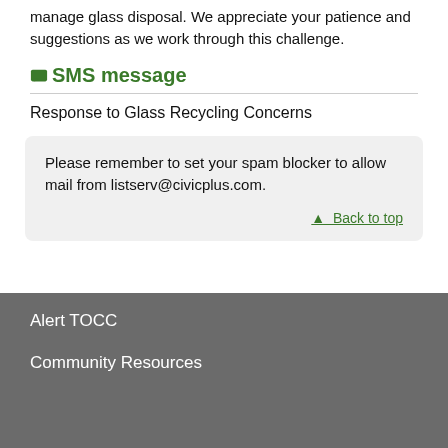manage glass disposal. We appreciate your patience and suggestions as we work through this challenge.
SMS message
Response to Glass Recycling Concerns
Please remember to set your spam blocker to allow mail from listserv@civicplus.com.
▲ Back to top
Alert TOCC
Community Resources